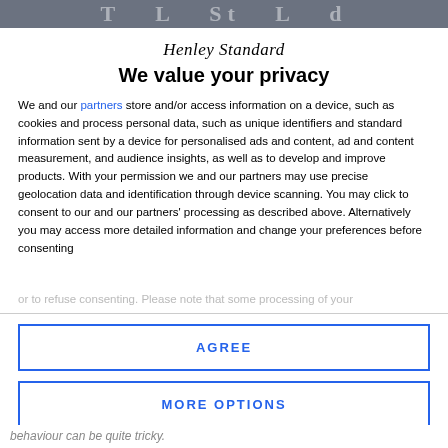The Henley Standard (masthead bar)
Henley Standard
We value your privacy
We and our partners store and/or access information on a device, such as cookies and process personal data, such as unique identifiers and standard information sent by a device for personalised ads and content, ad and content measurement, and audience insights, as well as to develop and improve products. With your permission we and our partners may use precise geolocation data and identification through device scanning. You may click to consent to our and our partners' processing as described above. Alternatively you may access more detailed information and change your preferences before consenting or to refuse consenting. Please note that some processing of your...
AGREE
MORE OPTIONS
behaviour can be quite tricky.